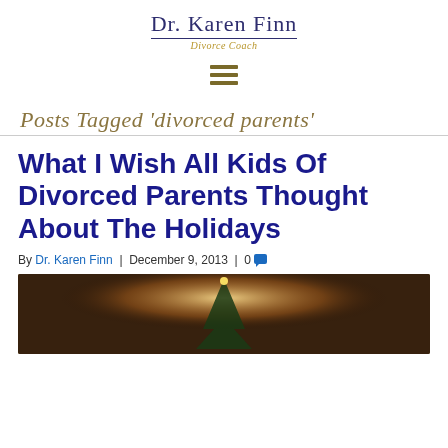Dr. Karen Finn – Divorce Coach
Posts Tagged 'divorced parents'
What I Wish All Kids Of Divorced Parents Thought About The Holidays
By Dr. Karen Finn | December 9, 2013 | 0
[Figure (photo): A warmly lit photo showing a Christmas tree with decorative lights in a dimly lit room.]